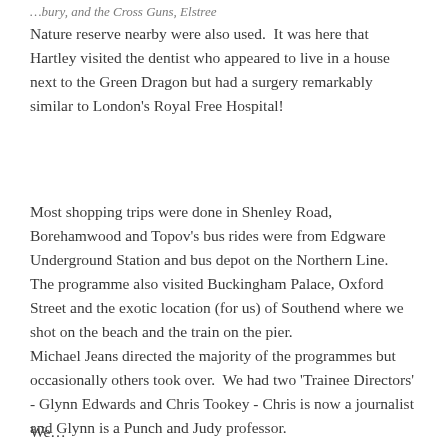…bury, and the Cross Guns, Elstree
Nature reserve nearby were also used.  It was here that Hartley visited the dentist who appeared to live in a house next to the Green Dragon but had a surgery remarkably similar to London's Royal Free Hospital!
Most shopping trips were done in Shenley Road, Borehamwood and Topov's bus rides were from Edgware Underground Station and bus depot on the Northern Line.
The programme also visited Buckingham Palace, Oxford Street and the exotic location (for us) of Southend where we shot on the beach and the train on the pier.
Michael Jeans directed the majority of the programmes but occasionally others took over.  We had two 'Trainee Directors' - Glynn Edwards and Chris Tookey - Chris is now a journalist and Glynn is a Punch and Judy professor.
We…